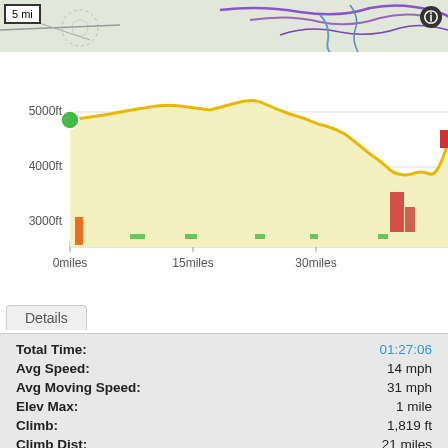[Figure (map): Partial map strip showing trail/road routes with purple and blue lines on a light gray/green background. Scale indicator '5 mi' in top-left corner. Info icon in top-right.]
[Figure (area-chart): Elevation profile chart showing yellow filled area chart of elevation vs distance. Y-axis: 3000ft, 4000ft, 5000ft. X-axis: 0miles, 15miles, 30miles. Start marker green circle at ~5000ft. End marker red square. Small orange and red/green bars at bottom representing segments.]
Details
| Label | Value |
| --- | --- |
| Total Time: | 01:27:06 |
| Avg Speed: | 14 mph |
| Avg Moving Speed: | 31 mph |
| Elev Max: | 1 mile |
| Climb: | 1,819 ft |
| Climb Dist: | 21 miles |